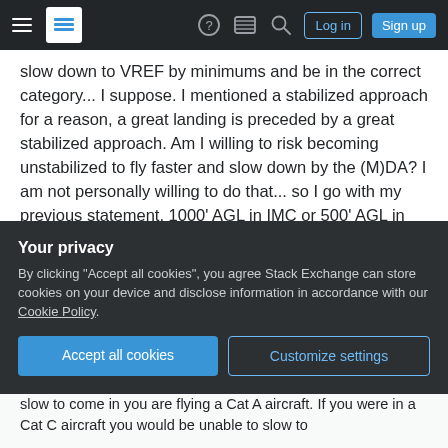Navigation bar with hamburger menu, Stack Exchange logo, icons, Log in and Sign up buttons
slow down to VREF by minimums and be in the correct category... I suppose. I mentioned a stabilized approach for a reason, a great landing is preceded by a great stabilized approach. Am I willing to risk becoming unstabilized to fly faster and slow down by the (M)DA? I am not personally willing to do that... so I go with my previous statement. 1000' AGL in IMC or 500' AGL in VMC.
Share
edited May 17 at 14:36
Improve this answer
Your privacy
By clicking "Accept all cookies", you agree Stack Exchange can store cookies on your device and disclose information in accordance with our Cookie Policy.
Accept all cookies    Customize settings
slow to come in you are flying a Cat A aircraft. If you were in a Cat C aircraft you would be unable to slow to